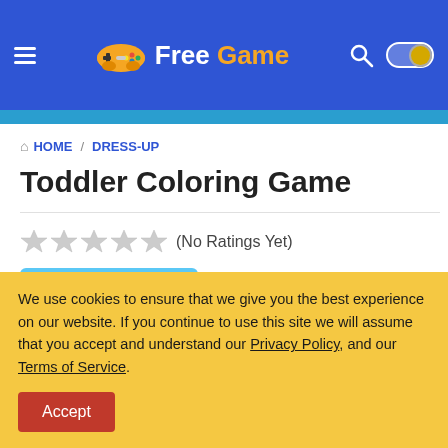Free Game — navigation header with menu, logo, search, and toggle
HOME / DRESS-UP
Toddler Coloring Game
★★★★★ (No Ratings Yet)
[Figure (illustration): Thumbnail image of Toddler Coloring Game showing cartoon animals being colored]
Toddler Coloring Game is a free dress-up game to play online at Free Game website. Friendly...
We use cookies to ensure that we give you the best experience on our website. If you continue to use this site we will assume that you accept and understand our Privacy Policy, and our Terms of Service.
Accept